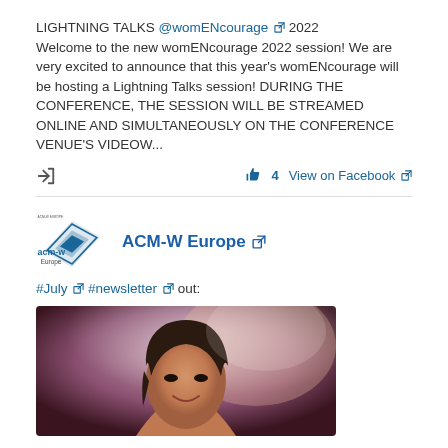LIGHTNING TALKS @womENcourage 2022
Welcome to the new womENcourage 2022 session! We are very excited to announce that this year's womENcourage will be hosting a Lightning Talks session! DURING THE CONFERENCE, THE SESSION WILL BE STREAMED ONLINE AND SIMULTANEOUSLY ON THE CONFERENCE VENUE'S VIDEOW...
👍 4  View on Facebook
ACM-W Europe
#July #newsletter out:
[Figure (photo): Photo of a smiling woman with dark hair, cropped at the bottom of the page]